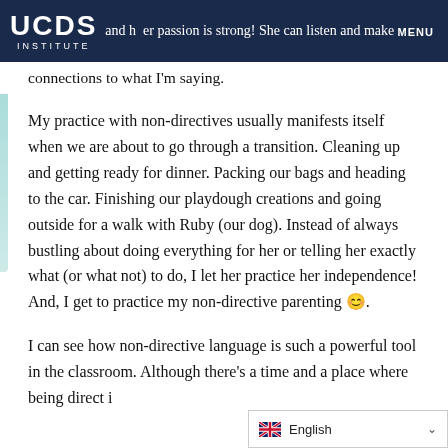UCDS INSTITUTE | MENU
and her passion is strong! She can listen and make connections to what I'm saying.
My practice with non-directives usually manifests itself when we are about to go through a transition. Cleaning up and getting ready for dinner. Packing our bags and heading to the car. Finishing our playdough creations and going outside for a walk with Ruby (our dog). Instead of always bustling about doing everything for her or telling her exactly what (or what not) to do, I let her practice her independence! And, I get to practice my non-directive parenting 😊.
I can see how non-directive language is such a powerful tool in the classroom. Although there's a time and a place where being direct i...